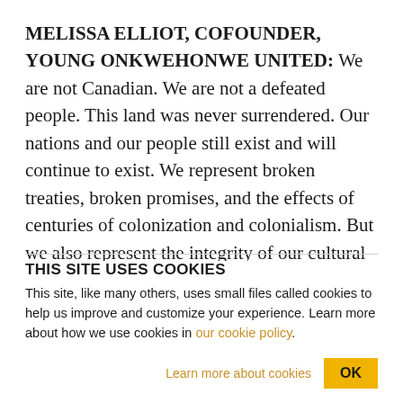MELISSA ELLIOT, COFOUNDER, YOUNG ONKWEHONWE UNITED: We are not Canadian. We are not a defeated people. This land was never surrendered. Our nations and our people still exist and will continue to exist. We represent broken treaties, broken promises, and the effects of centuries of colonization and colonialism. But we also represent the integrity of our cultural lineage that continue to survive tactics of genocide.
THIS SITE USES COOKIES
This site, like many others, uses small files called cookies to help us improve and customize your experience. Learn more about how we use cookies in our cookie policy.
Learn more about cookies